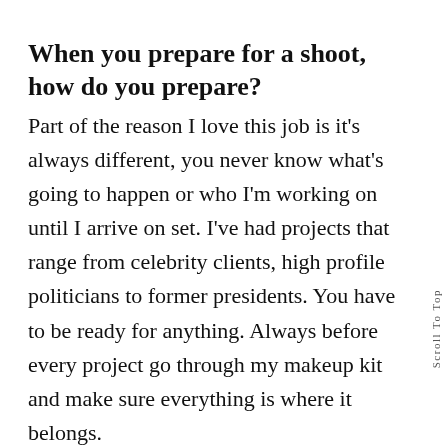When you prepare for a shoot, how do you prepare?
Part of the reason I love this job is it's always different, you never know what's going to happen or who I'm working on until I arrive on set. I've had projects that range from celebrity clients, high profile politicians to former presidents. You have to be ready for anything. Always before every project go through my makeup kit and make sure everything is where it belongs.
Experience is knowing what to do when the